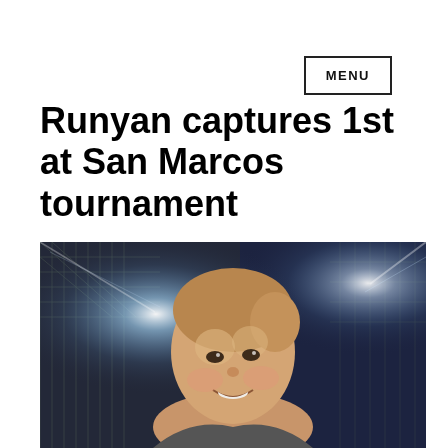MENU
Runyan captures 1st at San Marcos tournament
[Figure (photo): A young woman smiling at night, standing in front of a chain-link fence with bright stadium lights in the background.]